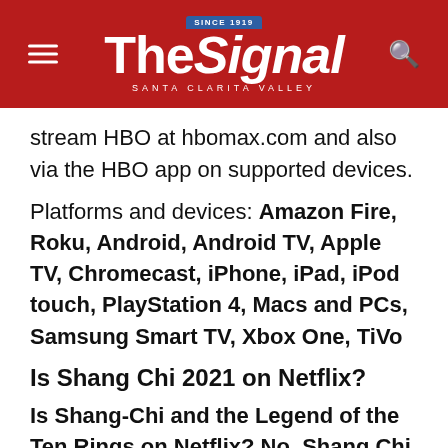The Signal — Santa Clarita Valley
stream HBO at hbomax.com and also via the HBO app on supported devices.
Platforms and devices: Amazon Fire, Roku, Android, Android TV, Apple TV, Chromecast, iPhone, iPad, iPod touch, PlayStation 4, Macs and PCs, Samsung Smart TV, Xbox One, TiVo
Is Shang Chi 2021 on Netflix?
Is Shang-Chi and the Legend of the Ten Rings on Netflix? No. Shang Chi (2021) is not on Netflix, and likely will not be on Netflix any time soon.